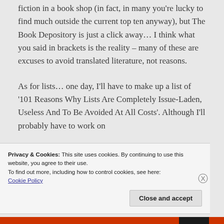fiction in a book shop (in fact, in many you're lucky to find much outside the current top ten anyway), but The Book Depository is just a click away... I think what you said in brackets is the reality – many of these are excuses to avoid translated literature, not reasons.
As for lists... one day, I'll have to make up a list of '101 Reasons Why Lists Are Completely Issue-Laden, Useless And To Be Avoided At All Costs'. Although I'll probably have to work on
Privacy & Cookies: This site uses cookies. By continuing to use this website, you agree to their use.
To find out more, including how to control cookies, see here:
Cookie Policy